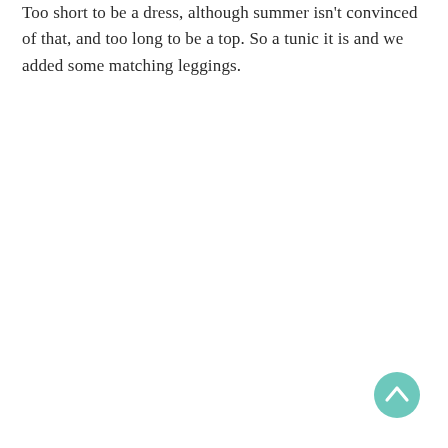Too short to be a dress, although summer isn't convinced of that, and too long to be a top. So a tunic it is and we added some matching leggings.
[Figure (other): A circular teal/mint colored scroll-to-top button with an upward-pointing chevron arrow icon, positioned in the bottom-right corner of the page.]